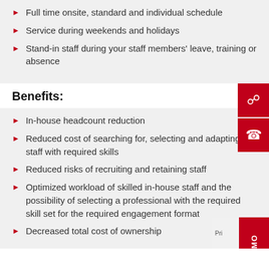Full time onsite, standard and individual schedule
Service during weekends and holidays
Stand-in staff during your staff members' leave, training or absence
Benefits:
In-house headcount reduction
Reduced cost of searching for, selecting and adapting staff with required skills
Reduced risks of recruiting and retaining staff
Optimized workload of skilled in-house staff and the possibility of selecting a professional with the required skill set for the required engagement format
Decreased total cost of ownership